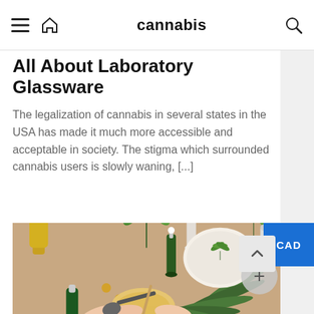cannabis
All About Laboratory Glassware
The legalization of cannabis in several states in the USA has made it much more accessible and acceptable in society. The stigma which surrounded cannabis users is slowly waning, [...]
[Figure (photo): Overhead flatlay photo of cannabis leaves, CBD oil dropper bottles (green and clear), a small jar with cannabis leaf decoration, golden oil drops, and hands holding a spoon with liquid, on a beige background.]